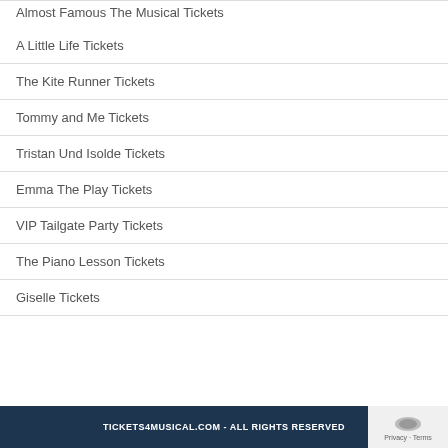Almost Famous The Musical Tickets
A Little Life Tickets
The Kite Runner Tickets
Tommy and Me Tickets
Tristan Und Isolde Tickets
Emma The Play Tickets
VIP Tailgate Party Tickets
The Piano Lesson Tickets
Giselle Tickets
TICKETS4MUSICAL.COM - ALL RIGHTS RESERVED